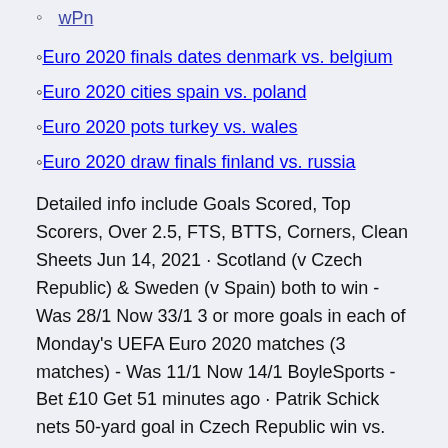wPn
Euro 2020 finals dates denmark vs. belgium
Euro 2020 cities spain vs. poland
Euro 2020 pots turkey vs. wales
Euro 2020 draw finals finland vs. russia
Detailed info include Goals Scored, Top Scorers, Over 2.5, FTS, BTTS, Corners, Clean Sheets Jun 14, 2021 · Scotland (v Czech Republic) & Sweden (v Spain) both to win - Was 28/1 Now 33/1 3 or more goals in each of Monday's UEFA Euro 2020 matches (3 matches) - Was 11/1 Now 14/1 BoyleSports - Bet £10 Get 51 minutes ago · Patrik Schick nets 50-yard goal in Czech Republic win vs. Scotland Patrik Schick scores an amazing goal